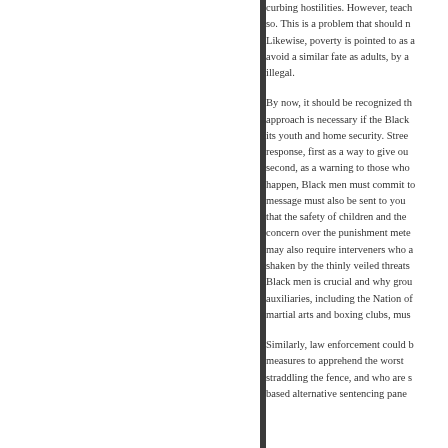curbing hostilities. However, teach so. This is a problem that should n Likewise, poverty is pointed to as a avoid a similar fate as adults, by a illegal.
By now, it should be recognized th approach is necessary if the Black its youth and home security. Stree response, first as a way to give ou second, as a warning to those who happen, Black men must commit to message must also be sent to you that the safety of children and the concern over the punishment mete may also require interveners who a shaken by the thinly veiled threats Black men is crucial and why grou auxiliaries, including the Nation of martial arts and boxing clubs, mus
Similarly, law enforcement could b measures to apprehend the worst straddling the fence, and who are s based alternative sentencing pane